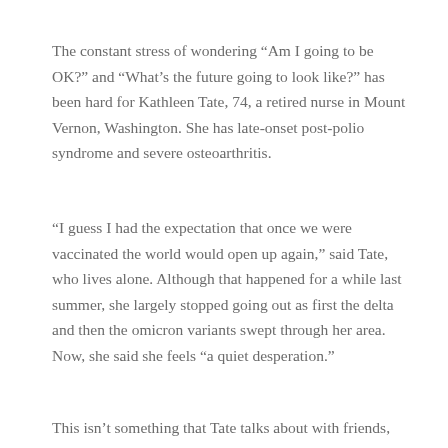The constant stress of wondering “Am I going to be OK?” and “What’s the future going to look like?” has been hard for Kathleen Tate, 74, a retired nurse in Mount Vernon, Washington. She has late-onset post-polio syndrome and severe osteoarthritis.
“I guess I had the expectation that once we were vaccinated the world would open up again,” said Tate, who lives alone. Although that happened for a while last summer, she largely stopped going out as first the delta and then the omicron variants swept through her area. Now, she said she feels “a quiet desperation.”
This isn’t something that Tate talks about with friends,